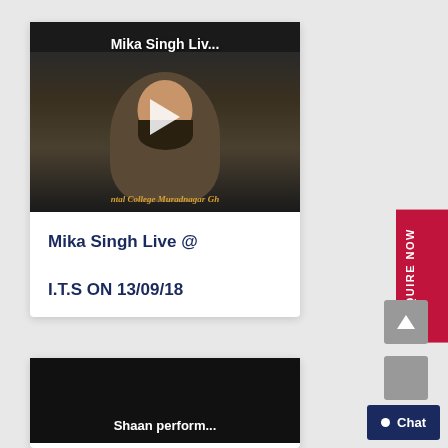[Figure (screenshot): Video thumbnail of Mika Singh Live performance with play button overlay, showing a man in dark clothing seated, with text 'Mika Singh Liv...' and watermark 'ntal College Muradnagar Gh']
Mika Singh Live @ I.T.S ON 13/09/18
[Figure (screenshot): Second video thumbnail with dark background showing text 'Shaan perform...']
ENQUIRE NOW
Chat